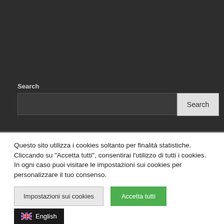Search
[Figure (screenshot): Search input field (dark background) with a Search button on the right]
Questo sito utilizza i cookies soltanto per finalità statistiche. Cliccando su “Accetta tutti”, consentirai l’utilizzo di tutti i cookies. In ogni caso puoi visitare le impostazioni sui cookies per personalizzare il tuo consenso.
Impostazioni sui cookies
Accetta tutti
English